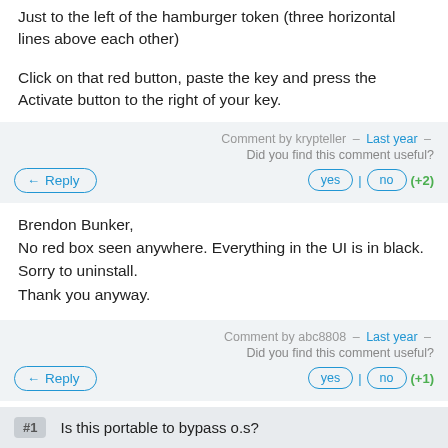Just to the left of the hamburger token (three horizontal lines above each other)
Click on that red button, paste the key and press the Activate button to the right of your key.
Comment by krypteller – Last year – Did you find this comment useful? yes | no (+2)
Brendon Bunker,
No red box seen anywhere. Everything in the UI is in black.
Sorry to uninstall.
Thank you anyway.
Comment by abc8808 – Last year – Did you find this comment useful? yes | no (+1)
Is this portable to bypass o.s?